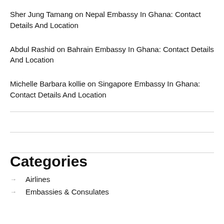Sher Jung Tamang on Nepal Embassy In Ghana: Contact Details And Location
Abdul Rashid on Bahrain Embassy In Ghana: Contact Details And Location
Michelle Barbara kollie on Singapore Embassy In Ghana: Contact Details And Location
Categories
Airlines
Embassies & Consulates